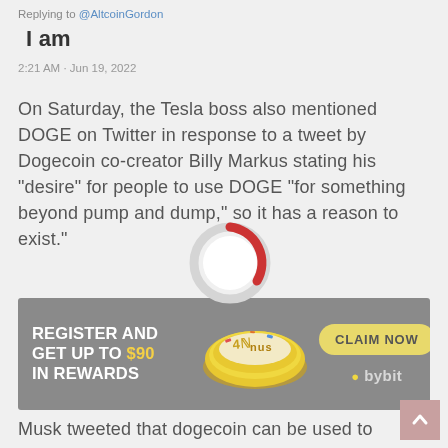Replying to @AltcoinGordon
I am
2:21 AM · Jun 19, 2022
On Saturday, the Tesla boss also mentioned DOGE on Twitter in response to a tweet by Dogecoin co-creator Billy Markus stating his "desire" for people to use DOGE "for something beyond pump and dump," so it has a reason to exist.
[Figure (other): Loading spinner / circular progress indicator, mostly gray with a small red arc]
[Figure (other): Bybit advertisement banner: 'REGISTER AND GET UP TO $90 IN REWARDS' with food/coin illustration and CLAIM NOW button]
Musk tweeted that dogecoin can be used to purchase merchandise at his companies, T... and Spacex, hinting that more could be of... "down the road."